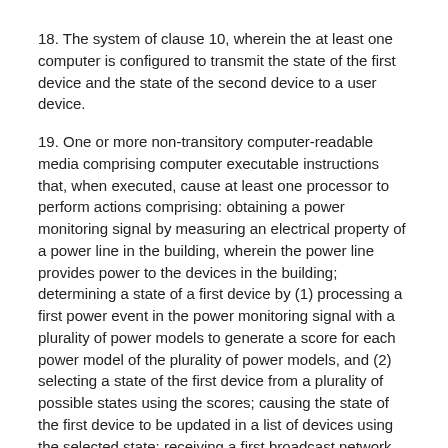18. The system of clause 10, wherein the at least one computer is configured to transmit the state of the first device and the state of the second device to a user device.
19. One or more non-transitory computer-readable media comprising computer executable instructions that, when executed, cause at least one processor to perform actions comprising: obtaining a power monitoring signal by measuring an electrical property of a power line in the building, wherein the power line provides power to the devices in the building; determining a state of a first device by (1) processing a first power event in the power monitoring signal with a plurality of power models to generate a score for each power model of the plurality of power models, and (2) selecting a state of the first device from a plurality of possible states using the scores; causing the state of the first device to be updated in a list of devices using the selected state; receiving a first broadcast network packet, wherein the first broadcast network packet was transmitted by a second device; determining, using information in the first broadcast network packet, that the first broadcast network packet